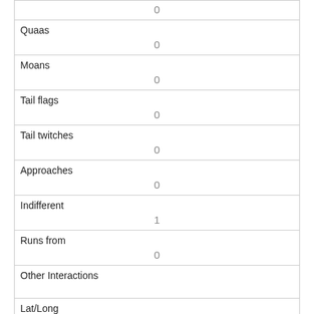|  | 0 |
| Quaas | 0 |
| Moans | 0 |
| Tail flags | 0 |
| Tail twitches | 0 |
| Approaches | 0 |
| Indifferent | 1 |
| Runs from | 0 |
| Other Interactions |  |
| Lat/Long | POINT (-73.9807898224726 40.768215817511) |
| Link |  |